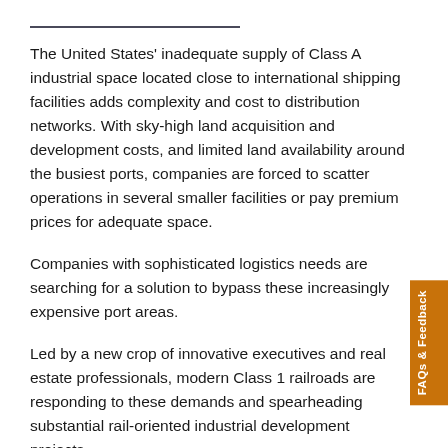The United States' inadequate supply of Class A industrial space located close to international shipping facilities adds complexity and cost to distribution networks. With sky-high land acquisition and development costs, and limited land availability around the busiest ports, companies are forced to scatter operations in several smaller facilities or pay premium prices for adequate space.
Companies with sophisticated logistics needs are searching for a solution to bypass these increasingly expensive port areas.
Led by a new crop of innovative executives and real estate professionals, modern Class 1 railroads are responding to these demands and spearheading substantial rail-oriented industrial development projects